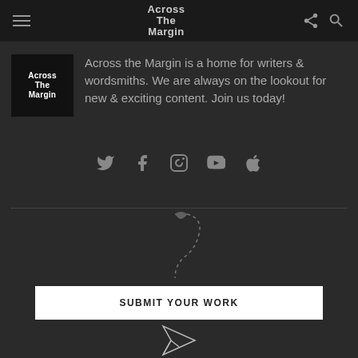Across The Margin
[Figure (logo): Across The Margin logo — black square with white stylized text 'Across The Margin']
Across the Margin is a home for writers & wordsmiths. We are always on the lookout for new & exciting content. Join us today!
[Figure (infographic): Row of social media icons: Twitter, Facebook, Instagram, YouTube, Apple]
[Figure (illustration): Decorative dashed curved arrow pointing down to a Submit Your Work button, with a paper airplane icon below]
SUBMIT YOUR WORK